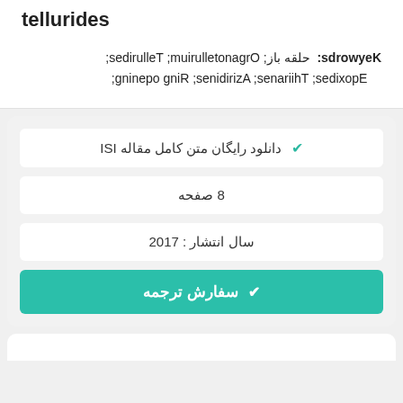tellurides
Keywords: حلقه باز; Organotellurium; Tellurides; Epoxides; Thiiranes; Aziridines; Ring opening;
✔ دانلود رایگان متن کامل مقاله ISI
8 صفحه
سال انتشار : 2017
✔ سفارش ترجمه